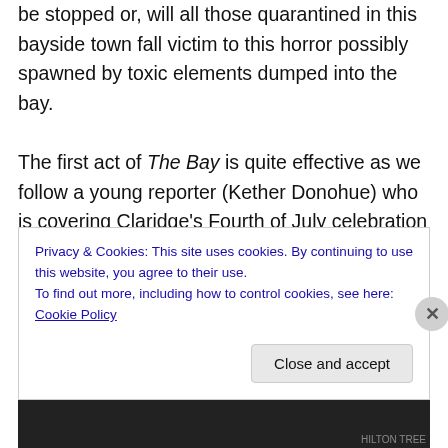be stopped or, will all those quarantined in this bayside town fall victim to this horror possibly spawned by toxic elements dumped into the bay.

The first act of The Bay is quite effective as we follow a young reporter (Kether Donohue) who is covering Claridge's Fourth of July celebration but, soon is there to witness what appears to be a bacterial infection breaking out and reports the story as more and more people start to succumb. But, then Levinson quickly looses his grip when the actual cause is revealed far too soon and then The Bay starts to get more and more outlandish and silly and
Privacy & Cookies: This site uses cookies. By continuing to use this website, you agree to their use.
To find out more, including how to control cookies, see here: Cookie Policy